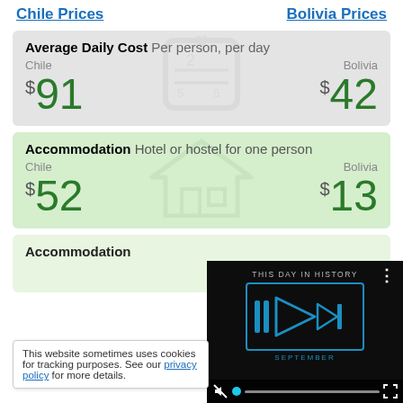Chile Prices
Bolivia Prices
Average Daily Cost Per person, per day
Chile   $91     Bolivia   $42
Accommodation Hotel or hostel for one person
Chile   $52     Bolivia   $13
Accommodation
This website sometimes uses cookies for tracking purposes. See our privacy policy for more details.
[Figure (screenshot): Video player overlay showing 'THIS DAY IN HISTORY' with play button, progress bar, mute and fullscreen icons, SEPTEMBER label]